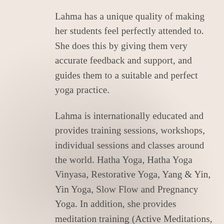Lahma has a unique quality of making her students feel perfectly attended to. She does this by giving them very accurate feedback and support, and guides them to a suitable and perfect yoga practice.
Lahma is internationally educated and provides training sessions, workshops, individual sessions and classes around the world. Hatha Yoga, Hatha Yoga Vinyasa, Restorative Yoga, Yang & Yin, Yin Yoga, Slow Flow and Pregnancy Yoga. In addition, she provides meditation training (Active Meditations, Zazen), Inquiry Workshops and Body/Mind Balancing Workshops. And as a certified hypnosis coach, she likes to use hypnosis as a bridge to meditation.